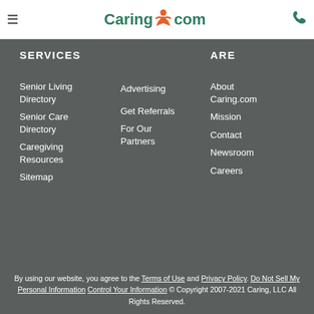Caring.com navigation header with hamburger menu and phone icon
SERVICES
Senior Living Directory
Senior Care Directory
Caregiving Resources
Sitemap
Advertising
Get Referrals
For Our Partners
ARE
About Caring.com
Mission
Contact
Newsroom
Careers
By using our website, you agree to the Terms of Use and Privacy Policy. Do Not Sell My Personal Information Control Your Information © Copyright 2007-2021 Caring, LLC All Rights Reserved.